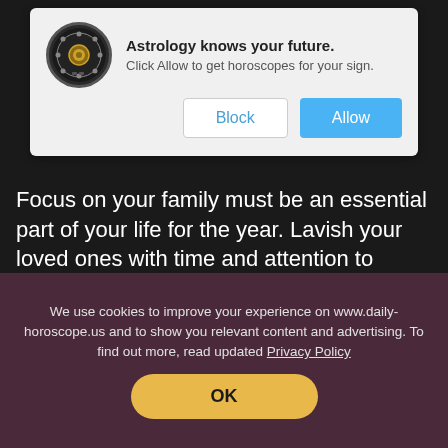[Figure (screenshot): Browser notification popup with astrology icon, title 'Astrology knows your future.', subtitle 'Click Allow to get horoscopes for your sign.', and two buttons: Block and Allow]
Focus on your family must be an essential part of your life for the year. Lavish your loved ones with time and attention to ensure their well-being. Unfortunately, some of your friends or family members may try to make a scapegoat out of you. Stay away from them, no matter how close you used to be.
We use cookies to improve your experience on www.daily-horoscope.us and to show you relevant content and advertising. To find out more, read updated Privacy Policy